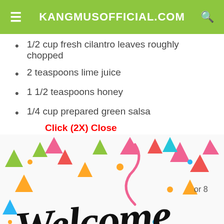KANGMUSOFFICIAL.COM
1/2 cup fresh cilantro leaves roughly chopped
2 teaspoons lime juice
1 1/2 teaspoons honey
1/4 cup prepared green salsa
Click (2X) Close
[Figure (illustration): Welcome illustration with colorful confetti triangles and decorative 'Welcome' lettering in black script font on white background. A green circle scroll-to-top button is in the bottom right corner. Text 'or 8' appears on the right side.]